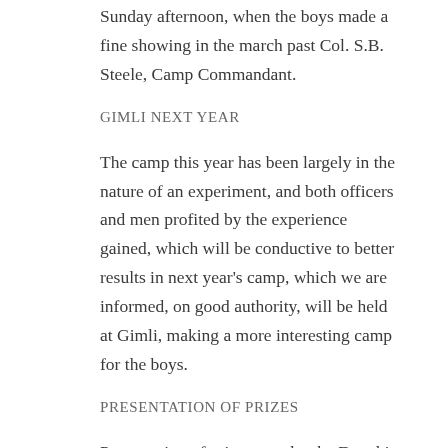Sunday afternoon, when the boys made a fine showing in the march past Col. S.B. Steele, Camp Commandant.
GIMLI NEXT YEAR
The camp this year has been largely in the nature of an experiment, and both officers and men profited by the experience gained, which will be conductive to better results in next year's camp, which we are informed, on good authority, will be held at Gimli, making a more interesting camp for the boys.
PRESENTATION OF PRIZES
Presentation of prizes won by the Dauphin Cadets will take place as soon as the prizes active from